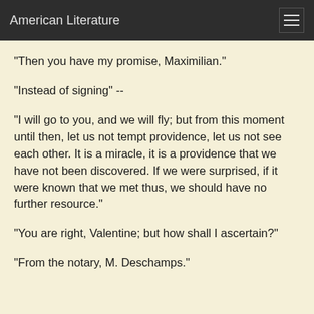American Literature
"Then you have my promise, Maximilian."
"Instead of signing" --
"I will go to you, and we will fly; but from this moment until then, let us not tempt providence, let us not see each other. It is a miracle, it is a providence that we have not been discovered. If we were surprised, if it were known that we met thus, we should have no further resource."
"You are right, Valentine; but how shall I ascertain?"
"From the notary, M. Deschamps."